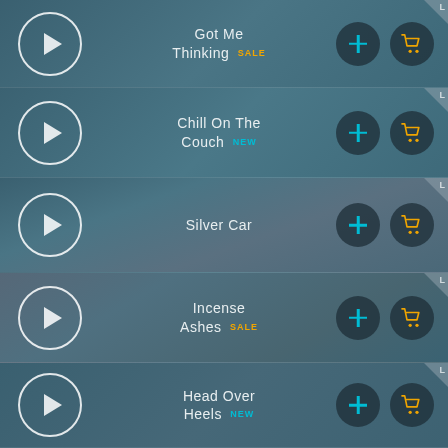Got Me Thinking SALE
Chill On The Couch NEW
Silver Car
Incense Ashes SALE
Head Over Heels NEW